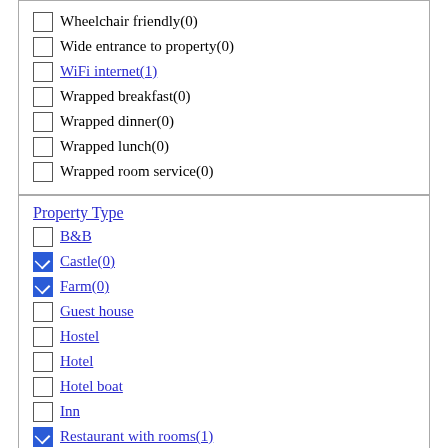Wheelchair friendly(0)
Wide entrance to property(0)
WiFi internet(1)
Wrapped breakfast(0)
Wrapped dinner(0)
Wrapped lunch(0)
Wrapped room service(0)
Property Type
B&B
Castle(0)
Farm(0)
Guest house
Hostel
Hotel
Hotel boat
Inn
Restaurant with rooms(1)
Townhouse hotel
Travel accommodation
clear [x]
Type of Stay